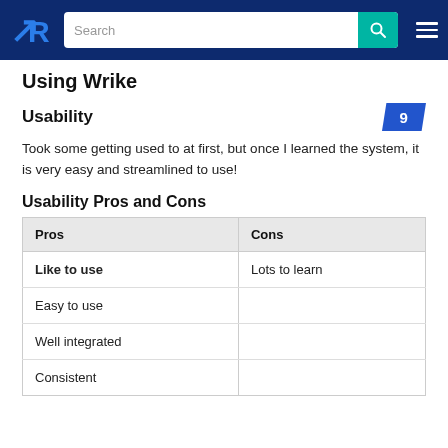TrustRadius navigation bar with logo, search field, and menu
Using Wrike
Usability
Took some getting used to at first, but once I learned the system, it is very easy and streamlined to use!
Usability Pros and Cons
| Pros | Cons |
| --- | --- |
| Like to use | Lots to learn |
| Easy to use |  |
| Well integrated |  |
| Consistent |  |